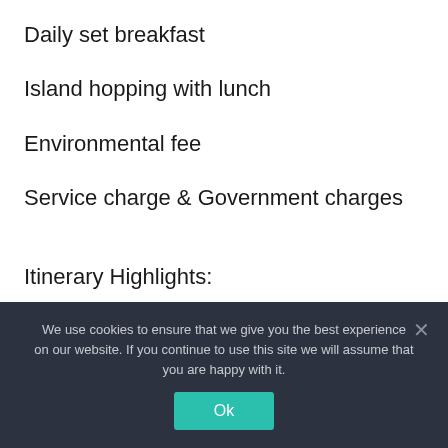Daily set breakfast
Island hopping with lunch
Environmental fee
Service charge & Government charges
Itinerary Highlights:
We use cookies to ensure that we give you the best experience on our website. If you continue to use this site we will assume that you are happy with it.